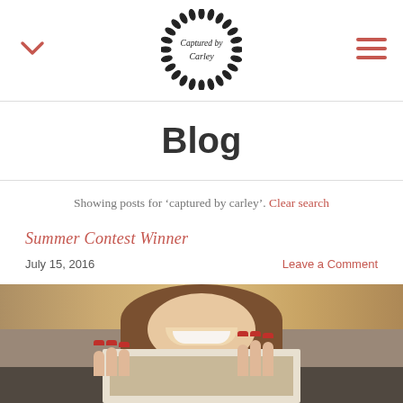[Figure (logo): Circular wreath logo with script text 'Captured by Carley' in the center]
Blog
Showing posts for 'captured by carley'. Clear search
Summer Contest Winner
July 15, 2016
Leave a Comment
[Figure (photo): A smiling young woman with long brown hair, holding a white framed sign, with red fingernails visible, photographed outdoors at golden hour]